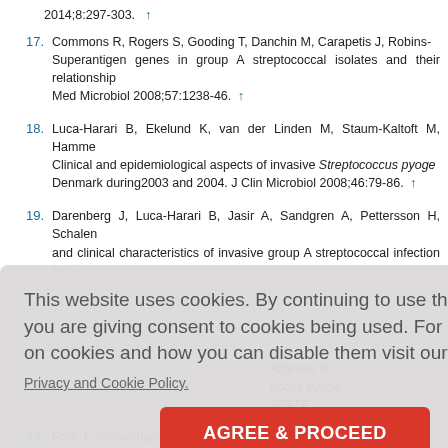2014;8:297-303. ↑
17. Commons R, Rogers S, Gooding T, Danchin M, Carapetis J, Robins-... Superantigen genes in group A streptococcal isolates and their relationship... Med Microbiol 2008;57:1238-46. ↑
18. Luca-Harari B, Ekelund K, van der Linden M, Staum-Kaltoft M, Hamme... Clinical and epidemiological aspects of invasive Streptococcus pyoge... Denmark during 2003 and 2004. J Clin Microbiol 2008;46:79-86. ↑
19. Darenberg J, Luca-Harari B, Jasir A, Sandgren A, Pettersson H, Schalen ... and clinical characteristics of invasive group A streptococcal infection in S...
Alfarone G ... occus pyoge... 249-56. ↑
D, Skinhoj... sive or noni...
pic and ge... Microbiol 2...
23. Proft T, Sriskandan S, Yang L, Fraser JD. Superantigens and strept...
This website uses cookies. By continuing to use this website you are giving consent to cookies being used. For information on cookies and how you can disable them visit our Privacy and Cookie Policy.
AGREE & PROCEED